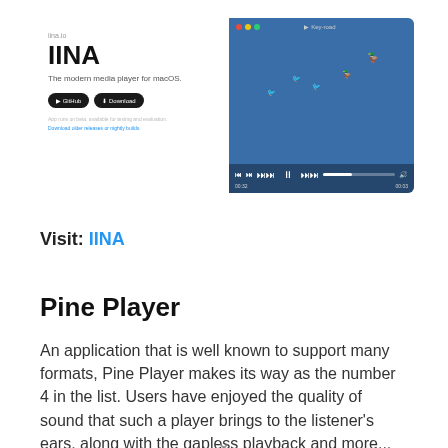[Figure (screenshot): Screenshot of the IINA media player website and application window. Left side shows IINA logo, subtitle 'The modern media player for macOS', and two dark buttons labeled 'GitHub' and 'Download'. Right side shows a macOS application window with a blue background, video game sprites, and media player controls at the bottom.]
Visit: IINA
Pine Player
An application that is well known to support many formats, Pine Player makes its way as the number 4 in the list. Users have enjoyed the quality of sound that such a player brings to the listener's ears, along with the gapless playback and more...